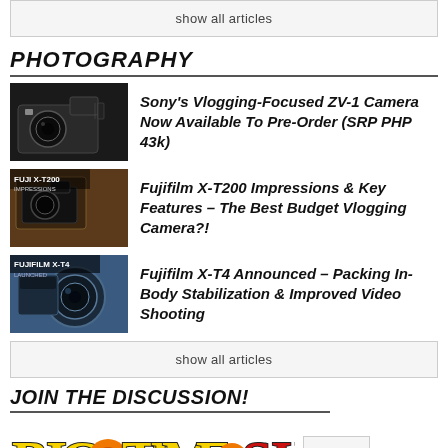show all articles
PHOTOGRAPHY
Sony’s Vlogging-Focused ZV-1 Camera Now Available To Pre-Order (SRP PHP 43k)
Fujifilm X-T200 Impressions & Key Features – The Best Budget Vlogging Camera?!
Fujifilm X-T4 Announced – Packing In-Body Stabilization & Improved Video Shooting
show all articles
JOIN THE DISCUSSION!
[Figure (logo): BigTimeShow Community logo with yellow and red comic-style lettering and orange circular accents]
POPULAR